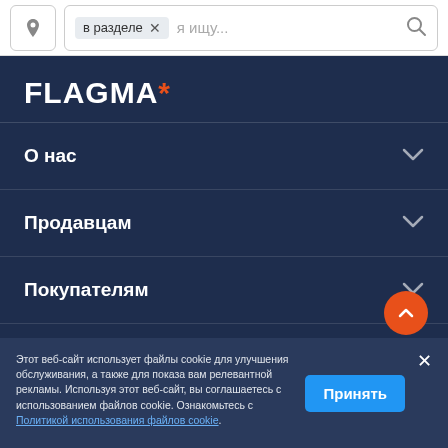[Figure (screenshot): Search bar with location icon, 'в разделе' tag with X button, search placeholder 'я ищу...', and search icon]
[Figure (logo): FLAGMA* logo in white and orange on dark navy background]
О нас
Продавцам
Покупателям
Другие страны
Этот веб-сайт использует файлы cookie для улучшения обслуживания, а также для показа вам релевантной рекламы. Используя этот веб-сайт, вы соглашаетесь с использованием файлов cookie. Ознакомьтесь с Политикой использования файлов cookie.
Принять